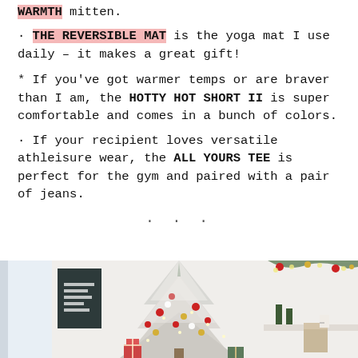WARMTH mitten.
· THE REVERSIBLE MAT is the yoga mat I use daily – it makes a great gift!
* If you've got warmer temps or are braver than I am, the HOTTY HOT SHORT II is super comfortable and comes in a bunch of colors.
· If your recipient loves versatile athleisure wear, the ALL YOURS TEE is perfect for the gym and paired with a pair of jeans.
. . .
[Figure (photo): A Christmas scene with a decorated flocked white Christmas tree with ornaments and gifts, shot indoors]